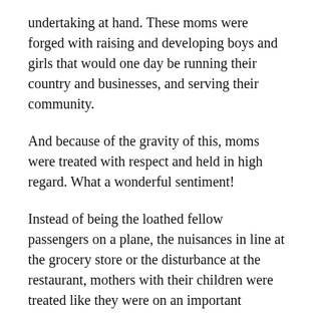undertaking at hand. These moms were forged with raising and developing boys and girls that would one day be running their country and businesses, and serving their community.
And because of the gravity of this, moms were treated with respect and held in high regard. What a wonderful sentiment!
Instead of being the loathed fellow passengers on a plane, the nuisances in line at the grocery store or the disturbance at the restaurant, mothers with their children were treated like they were on an important mission and given respect and help when in public.